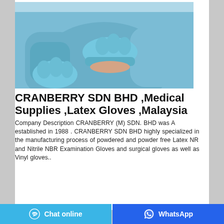[Figure (photo): Person wearing blue medical scrubs and blue nitrile/latex examination gloves, pulling glove onto wrist. Medical/healthcare setting.]
CRANBERRY SDN BHD ,Medical Supplies ,Latex Gloves ,Malaysia
Company Description CRANBERRY (M) SDN. BHD was A established in 1988 . CRANBERRY SDN BHD highly specialized in the manufacturing process of powdered and powder free Latex NR and Nitrile NBR Examination Gloves and surgical gloves as well as Vinyl gloves..
Chat online   WhatsApp